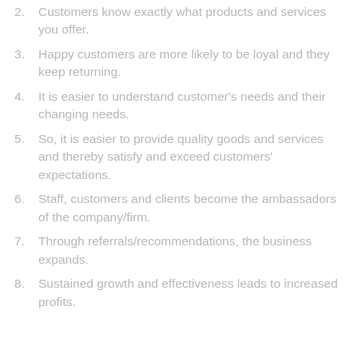2. Customers know exactly what products and services you offer.
3. Happy customers are more likely to be loyal and they keep returning.
4. It is easier to understand customer's needs and their changing needs.
5. So, it is easier to provide quality goods and services and thereby satisfy and exceed customers' expectations.
6. Staff, customers and clients become the ambassadors of the company/firm.
7. Through referrals/recommendations, the business expands.
8. Sustained growth and effectiveness leads to increased profits.